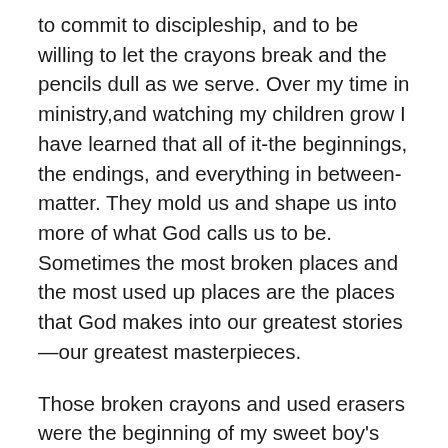to commit to discipleship, and to be willing to let the crayons break and the pencils dull as we serve. Over my time in ministry,and watching my children grow I have learned that all of it-the beginnings, the endings, and everything in between- matter. They mold us and shape us into more of what God calls us to be. Sometimes the most broken places and the most used up places are the places that God makes into our greatest stories—our greatest masterpieces.
Those broken crayons and used erasers were the beginning of my sweet boy's journey into not only an academic education, but a much deeper learning about who he is, and who God is calling and will call him to be in and for the world.  And every single time I've found myself with broken pieces, somehow God and those around me seem to help me put them back together, or give me